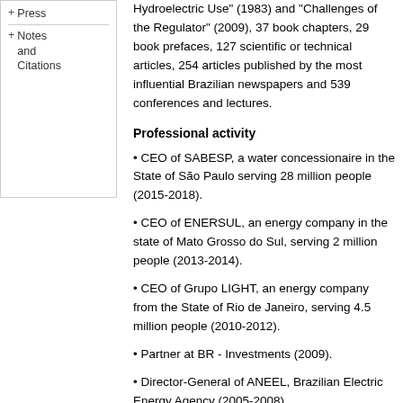Hydroelectric Use" (1983) and "Challenges of the Regulator" (2009), 37 book chapters, 29 book prefaces, 127 scientific or technical articles, 254 articles published by the most influential Brazilian newspapers and 539 conferences and lectures.
Professional activity
• CEO of SABESP, a water concessionaire in the State of São Paulo serving 28 million people (2015-2018).
• CEO of ENERSUL, an energy company in the state of Mato Grosso do Sul, serving 2 million people (2013-2014).
• CEO of Grupo LIGHT, an energy company from the State of Rio de Janeiro, serving 4.5 million people (2010-2012).
• Partner at BR - Investments (2009).
• Director-General of ANEEL, Brazilian Electric Energy Agency (2005-2008).